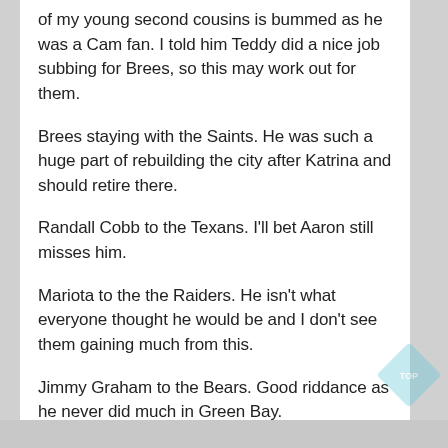of my young second cousins is bummed as he was a Cam fan.  I told him Teddy did a nice job subbing for Brees, so this may work out for them.
Brees staying with the Saints.  He was such a huge part of rebuilding the city after Katrina and should retire there.
Randall Cobb to the Texans.  I'll bet Aaron still misses him.
Mariota to the the Raiders.  He isn't what everyone thought he would be and I don't see them gaining much from this.
Jimmy Graham to the Bears.  Good riddance as he never did much in Green Bay.